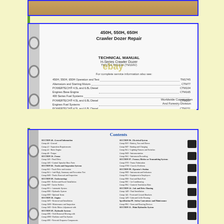[Figure (photo): Top portion of a binder/manual — tan/orange cover strip visible at top]
[Figure (photo): Manual cover page in a 3-ring binder showing '450H, 550H, 650H Crawler Dozer Repair' technical manual with table of references including TECHNICAL MANUAL H-Series Crawler Dozer, TM1754, TM1634, CTM1MV, CTM1504, CTM1965, CTM1007, CTM151, TM40398A, TM15991, DP230. Worldwide Construction And Forestry Division. eBay watermark visible.]
[Figure (photo): Contents page of the same 450H/550H/650H Crawler Dozer Repair manual open in a 3-ring binder, showing table of contents with multiple sections and groups listed in two columns, with tabbed dividers visible on right side.]